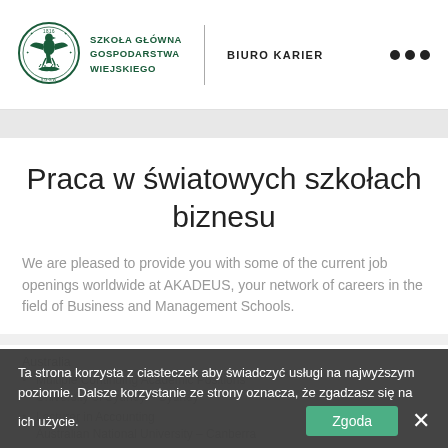[Figure (logo): SGGW circular university logo with eagle emblem, dated 1816]
SZKOŁA GŁÓWNA GOSPODARSTWA WIEJSKIEGO | BIURO KARIER
Praca w światowych szkołach biznesu
We are pleased to provide you with some of the current job openings worldwide at AKADEUS, your network of careers in the field of Business and Management Schools.
Australia
Multiple Continuing Academic Positions University of Sydney – Sydney
Lecturer in Accounting Australian National University – Canberra
Ta strona korzysta z ciasteczek aby świadczyć usługi na najwyższym poziomie. Dalsze korzystanie ze strony oznacza, że zgadzasz się na ich użycie.